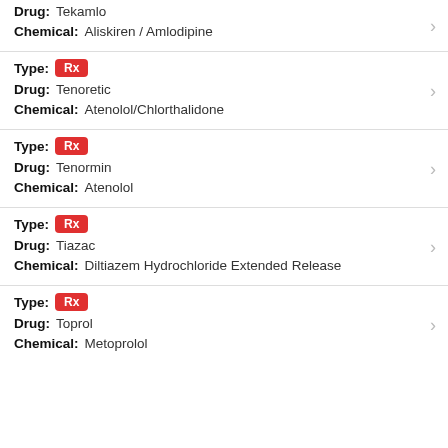Drug: Tekamlo | Chemical: Aliskiren / Amlodipine
Type: Rx | Drug: Tenoretic | Chemical: Atenolol/Chlorthalidone
Type: Rx | Drug: Tenormin | Chemical: Atenolol
Type: Rx | Drug: Tiazac | Chemical: Diltiazem Hydrochloride Extended Release
Type: Rx | Drug: Toprol | Chemical: Metoprolol